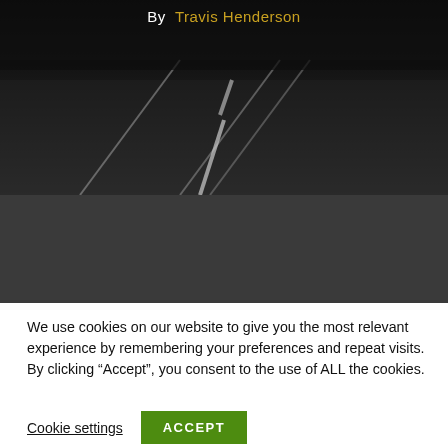[Figure (photo): Dark asphalt road surface viewed from above/angle with white lane markings, dark atmospheric photo]
By  Travis Henderson
[Figure (photo): Dark grey/charcoal background section, appears to be continuation of the page header image area]
We use cookies on our website to give you the most relevant experience by remembering your preferences and repeat visits. By clicking “Accept”, you consent to the use of ALL the cookies.
Cookie settings
ACCEPT